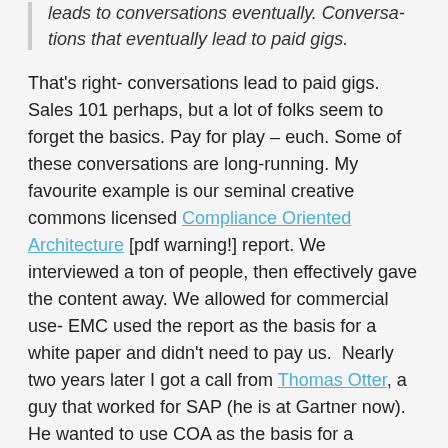leads to conversations eventually. Conversations that eventually lead to paid gigs.
That's right- conversations lead to paid gigs.  Sales 101 perhaps, but a lot of folks seem to forget the basics. Pay for play – euch. Some of these conversations are long-running. My favourite example is our seminal creative commons licensed Compliance Oriented Architecture [pdf warning!] report. We interviewed a ton of people, then effectively gave the content away. We allowed for commercial use- EMC used the report as the basis for a white paper and didn't need to pay us.  Nearly two years later I got a call from Thomas Otter, a guy that worked for SAP (he is at Gartner now). He wanted to use COA as the basis for a customer discussion. I met him for a glass of wine at Bedales, and about two weeks later I was in Walldorf at SAP's HQ. Today SAP is a valued customer but I would never have got in the door if we hadn't "given